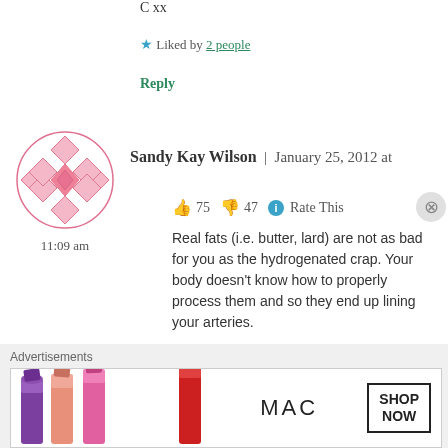C xx
★ Liked by 2 people
Reply
[Figure (illustration): Circular avatar with pink geometric pattern, showing time 11:09 am below]
Sandy Kay Wilson | January 25, 2012 at 11:09 am
👍 75 👎 47 ℹ Rate This
Real fats (i.e. butter, lard) are not as bad for you as the hydrogenated crap. Your body doesn't know how to properly process them and so they end up lining your arteries.
★ Liked by 2 people
Advertisements
[Figure (photo): MAC cosmetics advertisement banner with lipsticks and SHOP NOW button]